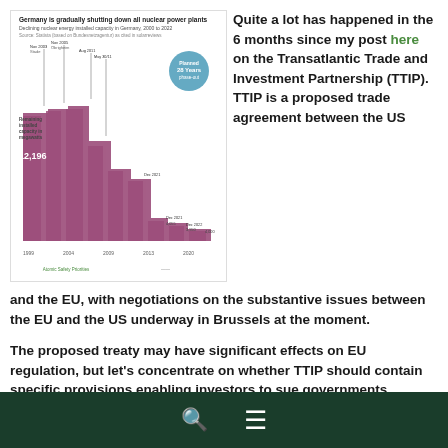[Figure (other): Bar chart showing Germany gradually shutting down all nuclear power plants, depicting declining nuclear energy installed capacity in Germany 2000-2022. Purple/pink colored chart with timeline annotations and a teal circle highlight.]
Quite a lot has happened in the 6 months since my post here on the Transatlantic Trade and Investment Partnership (TTIP). TTIP is a proposed trade agreement between the US and the EU, with negotiations on the substantive issues between the EU and the US underway in Brussels at the moment.
The proposed treaty may have significant effects on EU regulation, but let's concentrate on whether TTIP should contain specific provisions enabling investors to sue governments.
🔍 ☰